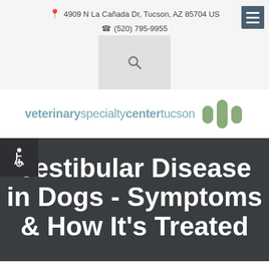4909 N La Cañada Dr, Tucson, AZ 85704 US
(520) 795-9955
[Figure (logo): Veterinary Specialty Center Tucson logo with stylized dumbbell/pill icon in sage green]
Vestibular Disease in Dogs - Symptoms & How It's Treated